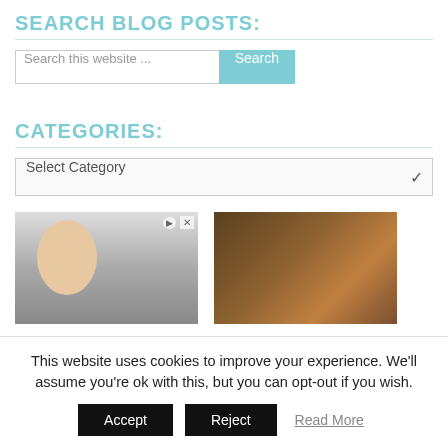SEARCH BLOG POSTS:
Search this website ...
CATEGORIES:
Select Category
[Figure (photo): Two people, one woman smiling in foreground, with ad badge overlay]
[Figure (photo): Food dish, rice with salmon or fish, dark bowl]
This website uses cookies to improve your experience. We'll assume you're ok with this, but you can opt-out if you wish.